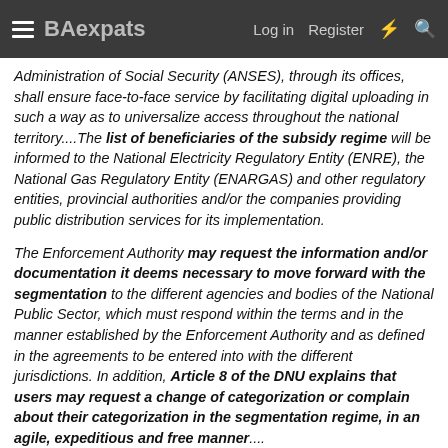BAexpats — Log in   Register
Administration of Social Security (ANSES), through its offices, shall ensure face-to-face service by facilitating digital uploading in such a way as to universalize access throughout the national territory....The list of beneficiaries of the subsidy regime will be informed to the National Electricity Regulatory Entity (ENRE), the National Gas Regulatory Entity (ENARGAS) and other regulatory entities, provincial authorities and/or the companies providing public distribution services for its implementation.
The Enforcement Authority may request the information and/or documentation it deems necessary to move forward with the segmentation to the different agencies and bodies of the National Public Sector, which must respond within the terms and in the manner established by the Enforcement Authority and as defined in the agreements to be entered into with the different jurisdictions. In addition, Article 8 of the DNU explains that users may request a change of categorization or complain about their categorization in the segmentation regime, in an agile, expeditious and free manner....